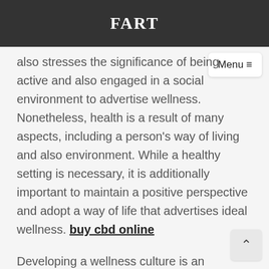FART
also stresses the significance of being active and also engaged in a social environment to advertise wellness. Nonetheless, health is a result of many aspects, including a person's way of living and also environment. While a healthy setting is necessary, it is additionally important to maintain a positive perspective and adopt a way of life that advertises ideal wellness. buy cbd online
Developing a wellness culture is an important action in the direction of improving your total health. A